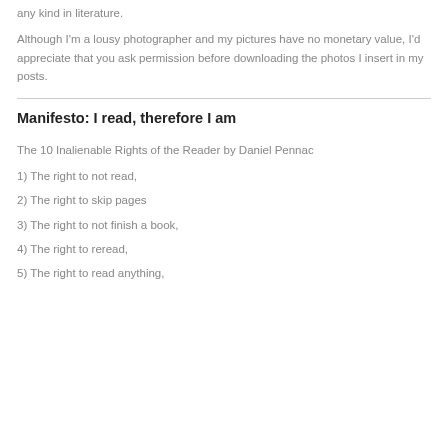any kind in literature.
Although I'm a lousy photographer and my pictures have no monetary value, I'd appreciate that you ask permission before downloading the photos I insert in my posts.
Manifesto: I read, therefore I am
The 10 Inalienable Rights of the Reader by Daniel Pennac
1) The right to not read,
2) The right to skip pages
3) The right to not finish a book,
4) The right to reread,
5) The right to read anything,